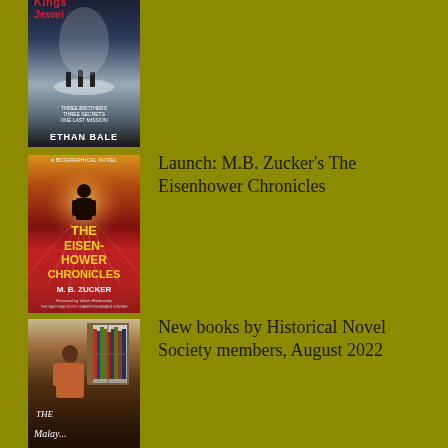[Figure (illustration): Book cover for 'King's Jewel' by Ethan Bale — dark winter scene with figures on a road, red title text, white author name]
[Figure (illustration): Book cover for 'The Eisenhower Chronicles' by M.B. Zucker — biographical novel, man walking toward sunburst, red and gold design with bold gold title text]
Launch: M.B. Zucker's The Eisenhower Chronicles
[Figure (illustration): Book cover for 'The Malay' — woman at window with bookshelves, dark atmospheric tones, italic title text]
New books by Historical Novel Society members, August 2022